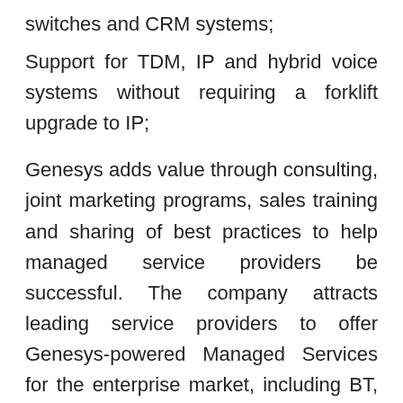switches and CRM systems;
Support for TDM, IP and hybrid voice systems without requiring a forklift upgrade to IP;
Genesys adds value through consulting, joint marketing programs, sales training and sharing of best practices to help managed service providers be successful. The company attracts leading service providers to offer Genesys-powered Managed Services for the enterprise market, including BT, Deutsche Telekom, France Telecom, Verizon, Qwest, Rogers, XO, West, EDS, NTT, Telstra and